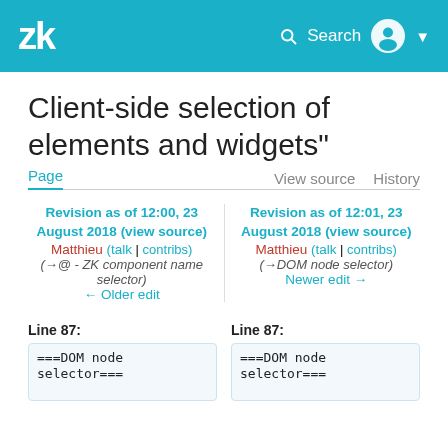zk | Search
Client-side selection of elements and widgets"
Page | View source | History
Revision as of 12:00, 23 August 2018 (view source)
Matthieu (talk | contribs)
(→@ - ZK component name selector)
← Older edit
Revision as of 12:01, 23 August 2018 (view source)
Matthieu (talk | contribs)
(→DOM node selector)
Newer edit →
Line 87:
Line 87:
===DOM node
selector===
===DOM node
selector===